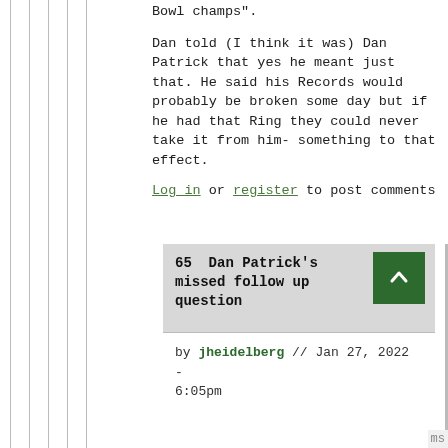Bowl champs".
Dan told (I think it was) Dan Patrick that yes he meant just that. He said his Records would probably be broken some day but if he had that Ring they could never take it from him- something to that effect.
Log in or register to post comments
65  Dan Patrick's missed follow up question
by jheidelberg // Jan 27, 2022 - 6:05pm